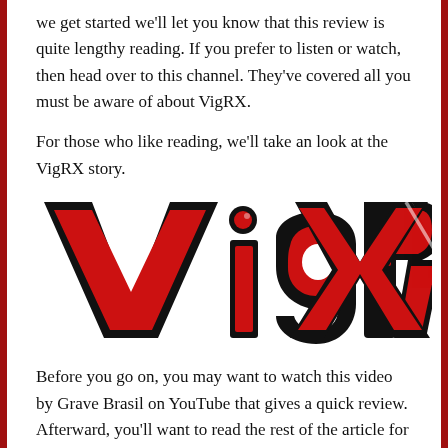we get started we'll let you know that this review is quite lengthy reading. If you prefer to listen or watch, then head over to this channel. They've covered all you must be aware of about VigRX.
For those who like reading, we'll take an look at the VigRX story.
[Figure (logo): VigRX logo in large bold red letters with black outline on white background]
Before you go on, you may want to watch this video by Grave Brasil on YouTube that gives a quick review. Afterward, you'll want to read the rest of the article for a more comprehensive review of VigRX.